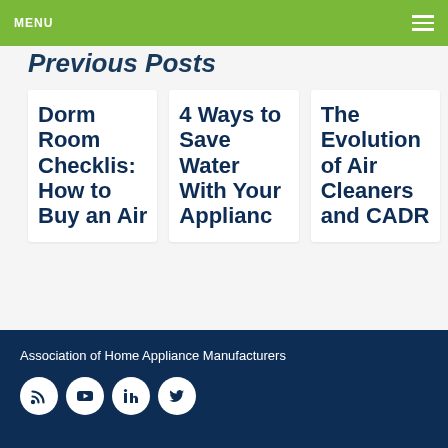MENU
Previous Posts
Dorm Room Checklist: How to Buy an Air
4 Ways to Save Water With Your Applianc
The Evolution of Air Cleaners and CADR
Association of Home Appliance Manufacturers